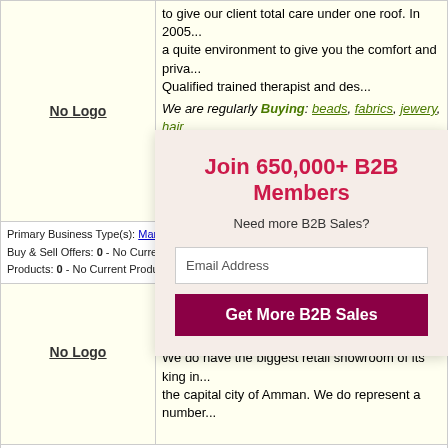...to give our client total care under one roof. In 2005... a quite environment to give you the comfort and privacy. Qualified trained therapist and des...
We are regularly Buying: beads, fabrics, jewery, hair products, salon equipment, massage equipment, mas... accessaries.
Member since 23 July, 2009, Ghana - Western
Primary Business Type(s): Manufacturer, Distributor / Wholesaler, Trading Company
Buy & Sell Offers: 0 - No Current Trade Leads
Products: 0 - No Current Products
Baalbek Beauty Supplies Co. LLC
We are an import and distribution company of beauty... We do have the biggest retail showroom of its king in... the capital city of Amman. We do represent a number...
Primary Bus...
Buy & Sell O...
Products: 0 -
Join 650,000+ B2B Members
Need more B2B Sales?
Email Address
Get More B2B Sales